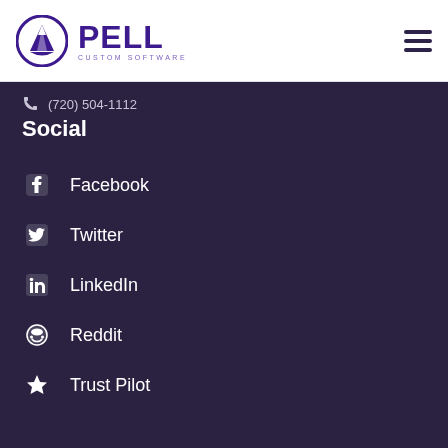Pell Custom Software — (720) 504-1112
Social
Facebook
Twitter
LinkedIn
Reddit
Trust Pilot